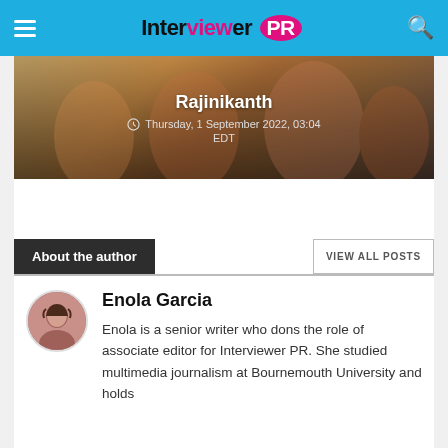Interviewer PR
[Figure (photo): Hero image showing Rajinikanth with colorful background featuring people in traditional attire. Title: Rajinikanth, Date: Thursday, 1 September 2022, 03:04 EDT]
Rajinikanth
Thursday, 1 September 2022, 03:04 EDT
About the author
VIEW ALL POSTS
Enola Garcia
Enola is a senior writer who dons the role of associate editor for Interviewer PR. She studied multimedia journalism at Bournemouth University and holds